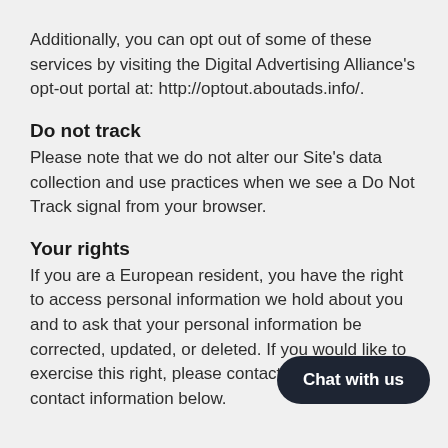Additionally, you can opt out of some of these services by visiting the Digital Advertising Alliance's opt-out portal at: http://optout.aboutads.info/.
Do not track
Please note that we do not alter our Site's data collection and use practices when we see a Do Not Track signal from your browser.
Your rights
If you are a European resident, you have the right to access personal information we hold about you and to ask that your personal information be corrected, updated, or deleted. If you would like to exercise this right, please contact us through the contact information below.